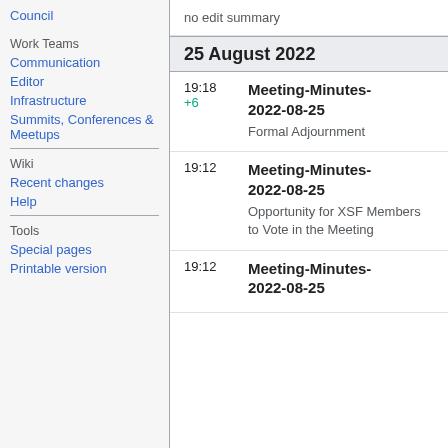Council
Work Teams
Communication
Editor
Infrastructure
Summits, Conferences & Meetups
Wiki
Recent changes
Help
Tools
Special pages
Printable version
no edit summary
25 August 2022
19:18
+6
Meeting-Minutes-2022-08-25
Formal Adjournment
19:12
Meeting-Minutes-2022-08-25
Opportunity for XSF Members to Vote in the Meeting
19:12
Meeting-Minutes-2022-08-25